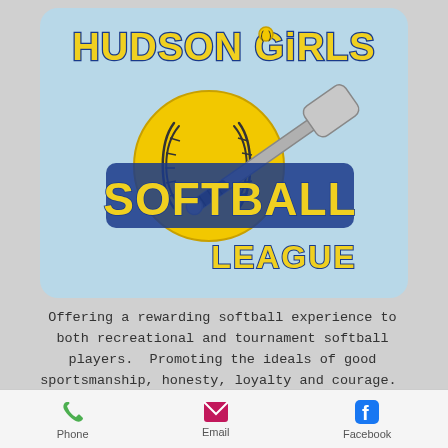[Figure (logo): Hudson Girls Softball League logo: yellow softball with stitching and a bat, with 'HUDSON GIRLS' in blue/yellow block letters at top, 'SOFTBALL' in large yellow/blue block letters center, and 'LEAGUE' in yellow block letters below, on a light blue rounded rectangle background.]
Offering a rewarding softball experience to both recreational and tournament softball players.  Promoting the ideals of good sportsmanship, honesty, loyalty and courage.  Let's play ball!
Phone   Email   Facebook